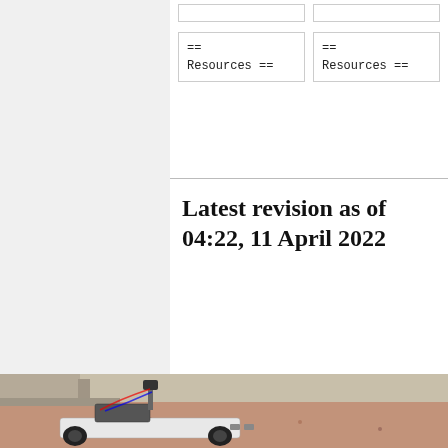== Resources ==
== Resources ==
Latest revision as of 04:22, 11 April 2022
[Figure (photo): A small autonomous wheeled robot with four wheels, Raspberry Pi and electronics mounted on a white chassis platform, a camera on a vertical mast, ultrasonic sensors at the front, outdoors on reddish gravel with a concrete structure in the background.]